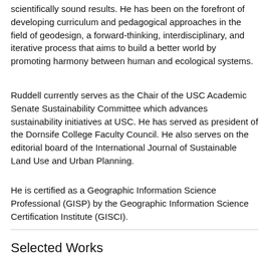scientifically sound results. He has been on the forefront of developing curriculum and pedagogical approaches in the field of geodesign, a forward-thinking, interdisciplinary, and iterative process that aims to build a better world by promoting harmony between human and ecological systems.
Ruddell currently serves as the Chair of the USC Academic Senate Sustainability Committee which advances sustainability initiatives at USC. He has served as president of the Dornsife College Faculty Council. He also serves on the editorial board of the International Journal of Sustainable Land Use and Urban Planning.
He is certified as a Geographic Information Science Professional (GISP) by the Geographic Information Science Certification Institute (GISCI).
Selected Works